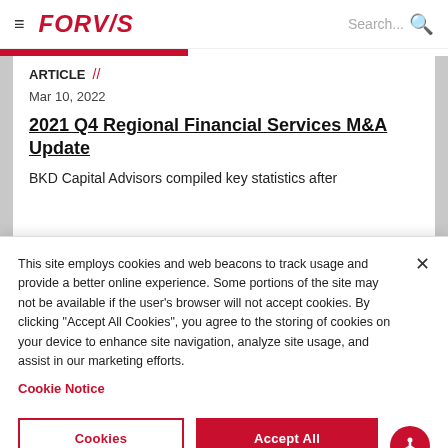FORVIS | Search...
ARTICLE //
Mar 10, 2022
2021 Q4 Regional Financial Services M&A Update
BKD Capital Advisors compiled key statistics after
This site employs cookies and web beacons to track usage and provide a better online experience. Some portions of the site may not be available if the user's browser will not accept cookies. By clicking “Accept All Cookies”, you agree to the storing of cookies on your device to enhance site navigation, analyze site usage, and assist in our marketing efforts.
Cookie Notice
Cookies Settings | Accept All Cookies